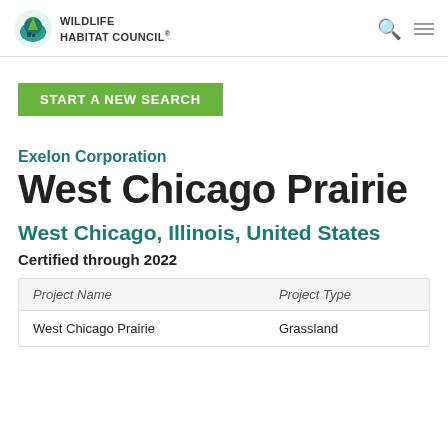WILDLIFE HABITAT COUNCIL
START A NEW SEARCH
Exelon Corporation
West Chicago Prairie
West Chicago, Illinois, United States
Certified through 2022
| Project Name | Project Type |
| --- | --- |
| West Chicago Prairie | Grassland |